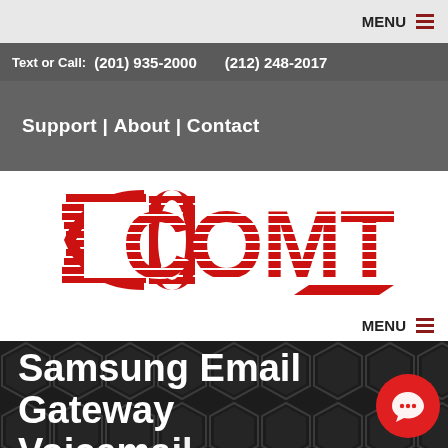MENU
Text or Call:  (201) 935-2000   (212) 248-2017
Support | About | Contact
[Figure (logo): COMTEX red logo with stylized C and striped lettering]
MENU
Samsung Email Gateway Voicemail...